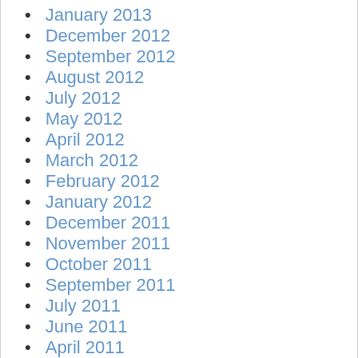January 2013
December 2012
September 2012
August 2012
July 2012
May 2012
April 2012
March 2012
February 2012
January 2012
December 2011
November 2011
October 2011
September 2011
July 2011
June 2011
April 2011
March 2011
February 2011